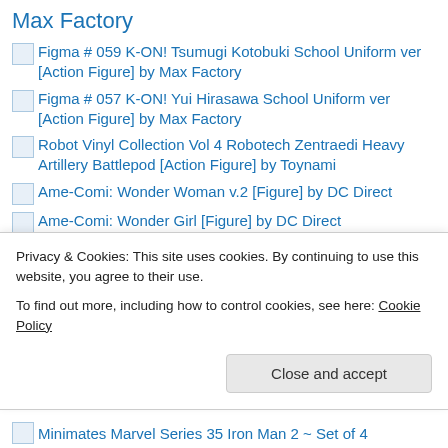Max Factory
Figma # 059 K-ON! Tsumugi Kotobuki School Uniform ver [Action Figure] by Max Factory
Figma # 057 K-ON! Yui Hirasawa School Uniform ver [Action Figure] by Max Factory
Robot Vinyl Collection Vol 4 Robotech Zentraedi Heavy Artillery Battlepod [Action Figure] by Toynami
Ame-Comi: Wonder Woman v.2 [Figure] by DC Direct
Ame-Comi: Wonder Girl [Figure] by DC Direct
Privacy & Cookies: This site uses cookies. By continuing to use this website, you agree to their use.
To find out more, including how to control cookies, see here: Cookie Policy
Minimates Marvel Series 35 Iron Man 2 ~ Set of 4